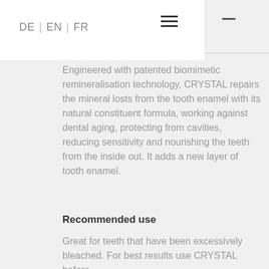DE | EN | FR
Engineered with patented biomimetic remineralisation technology, CRYSTAL repairs the mineral losts from the tooth enamel with its natural constituent formula, working against dental aging, protecting from cavities, reducing sensitivity and nourishing the teeth from the inside out. It adds a new layer of tooth enamel.
Recommended use
Great for teeth that have been excessively bleached. For best results use CRYSTAL before